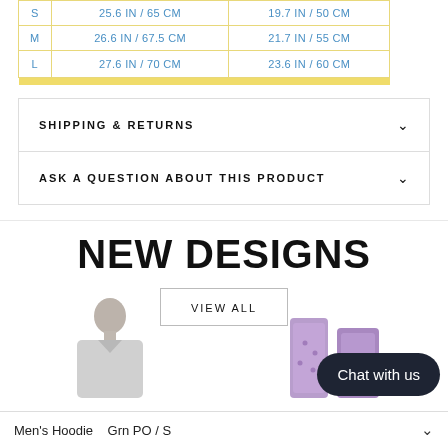| Size | Chest Width | Body Length |
| --- | --- | --- |
| S | 25.6 IN / 65 CM | 19.7 IN / 50 CM |
| M | 26.6 IN / 67.5 CM | 21.7 IN / 55 CM |
| L | 27.6 IN / 70 CM | 23.6 IN / 60 CM |
SHIPPING & RETURNS
ASK A QUESTION ABOUT THIS PRODUCT
NEW DESIGNS
VIEW ALL
[Figure (photo): Man wearing a grey hoodie, cropped at torso level]
[Figure (photo): Purple patterned product items]
Chat with us
Men's Hoodie   Grn PO / S